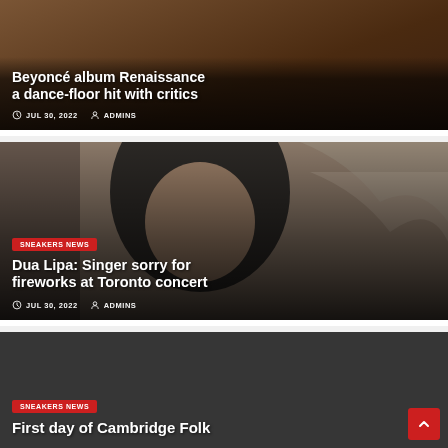[Figure (photo): Article card with dark brownish background showing Beyoncé article. Title: 'Beyoncé album Renaissance a dance-floor hit with critics'. Date: JUL 30, 2022. Author: ADMINS.]
[Figure (photo): Article card showing a woman (Dua Lipa) with dark hair against a patterned background. Badge: SNEAKERS NEWS. Title: 'Dua Lipa: Singer sorry for fireworks at Toronto concert'. Date: JUL 30, 2022. Author: ADMINS.]
[Figure (photo): Article card with dark gray background. Badge: SNEAKERS NEWS. Title beginning: 'First day of Cambridge Folk']